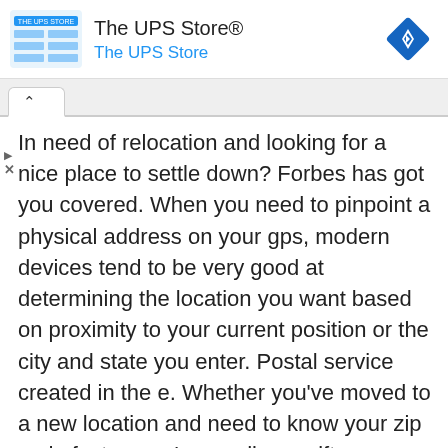[Figure (logo): The UPS Store advertisement banner with store logo, name 'The UPS Store®', subtitle 'The UPS Store', and a blue navigation diamond icon on the right]
In need of relocation and looking for a nice place to settle down? Forbes has got you covered. When you need to pinpoint a physical address on your gps, modern devices tend to be very good at determining the location you want based on proximity to your current position or the city and state you enter. Postal service created in the e. Whether you've moved to a new location and need to know your zip code fast or you're sending a gift or a letter to someone and don't have have their zip code handy, finding this information is faster and easier than ever thanks to the inter. This is what each digit means and